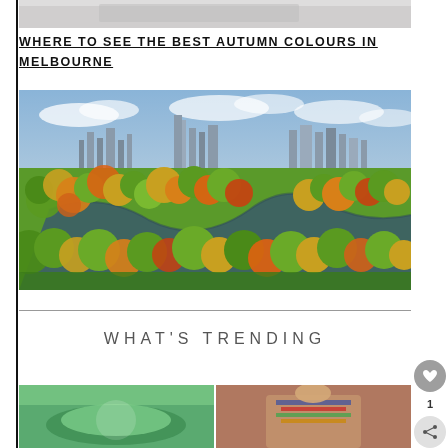[Figure (photo): Partial cropped photo at top of page — appears to be a close-up image partially visible, light grey tones]
WHERE TO SEE THE BEST AUTUMN COLOURS IN MELBOURNE
[Figure (photo): Aerial photograph of Melbourne city skyline in the background with a large green park featuring a winding river/lake and autumn-coloured trees in the foreground]
WHAT'S TRENDING
[Figure (photo): Two partially visible images at the bottom: left appears to be a green food/drink item, right appears to be a person wearing a colourful embroidered garment]